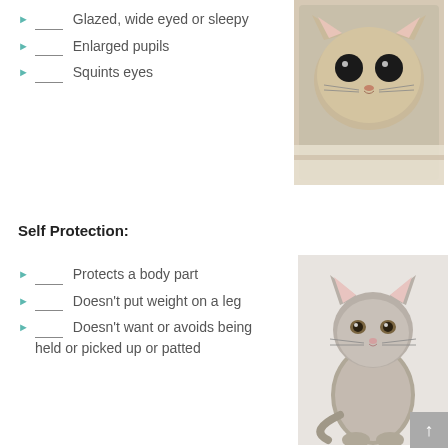____ Glazed, wide eyed or sleepy
____ Enlarged pupils
____ Squints eyes
[Figure (photo): Close-up photo of a cat with wide enlarged pupils peeking out from under a blanket or cover]
Self Protection:
____ Protects a body part
____ Doesn't put weight on a leg
____ Doesn't want or avoids being held or picked up or patted
[Figure (photo): Photo of a fluffy grey cat sitting upright looking at the camera]